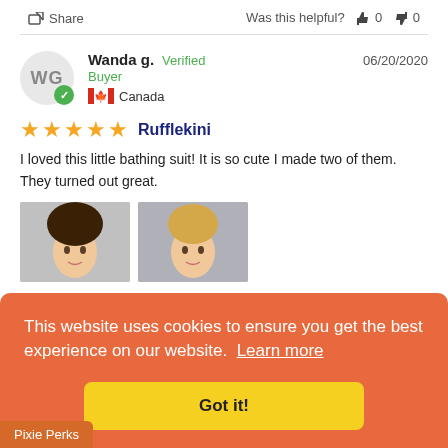Share   Was this helpful?  👍 0  👎 0
WG  Wanda g.  Verified Buyer  06/20/2020  🇨🇦 Canada
★★★★★  Rufflekini
I loved this little bathing suit! It is so cute I made two of them. They turned out great.
[Figure (photo): Two photos of doll faces, one with dark hair and one with blonde hair, partially covered by cookie banner]
This website uses cookies to ensure you get the best experience on our website.  Learn more
Got it!
Pixie Perks